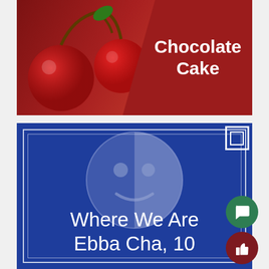[Figure (photo): Top banner image showing cherries on a red background with text overlay 'Chocolate Cake']
[Figure (illustration): Blue square card with white/light blue circular logo (half-circle face design), white border frame with decorative corner box, and text 'Where We Are Ebba Cha, 10' in white. Two circular buttons on the right edge: green chat button and dark red thumbs-up button.]